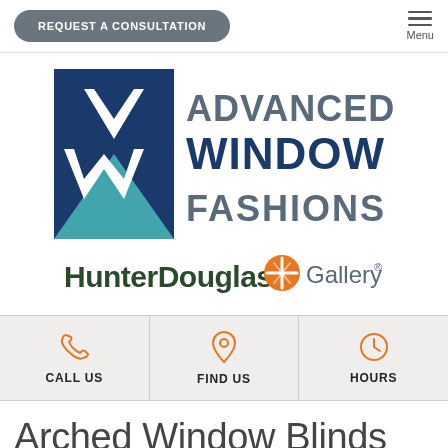REQUEST A CONSULTATION | Menu
[Figure (logo): Advanced Window Fashions AWF logo with blue and teal geometric letters]
[Figure (logo): HunterDouglas Gallery logo with orange circular icon]
[Figure (infographic): Three icon cells: Call Us (phone icon), Find Us (location pin icon), Hours (clock icon)]
Arched Window Blinds